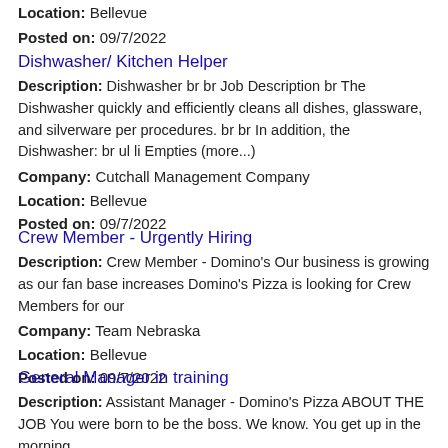Company: [cut off/partial]
Location: Bellevue
Posted on: 09/7/2022
Dishwasher/ Kitchen Helper
Description: Dishwasher br br Job Description br The Dishwasher quickly and efficiently cleans all dishes, glassware, and silverware per procedures. br br In addition, the Dishwasher: br ul li Empties (more...)
Company: Cutchall Management Company
Location: Bellevue
Posted on: 09/7/2022
Crew Member - Urgently Hiring
Description: Crew Member - Domino's Our business is growing as our fan base increases Domino's Pizza is looking for Crew Members for our
Company: Team Nebraska
Location: Bellevue
Posted on: 09/7/2022
General Manager in training
Description: Assistant Manager - Domino's Pizza ABOUT THE JOB You were born to be the boss. We know. You get up in the morning and you make sure everyone else in the house is doing what they need to do.